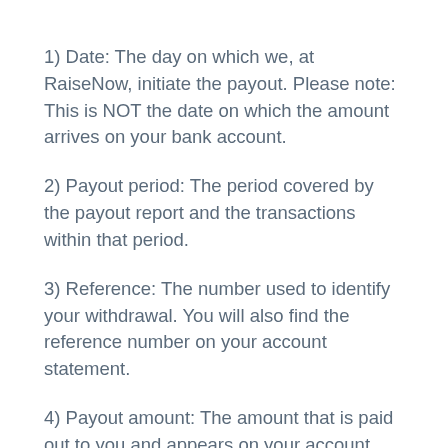1) Date: The day on which we, at RaiseNow, initiate the payout. Please note: This is NOT the date on which the amount arrives on your bank account.
2) Payout period: The period covered by the payout report and the transactions within that period.
3) Reference: The number used to identify your withdrawal. You will also find the reference number on your account statement.
4) Payout amount: The amount that is paid out to you and appears on your account.
5) Fees: The fees incurred for each successful transaction in the respective payout period. You can find out more about fees here
6) Status: The status of the withdrawal. "Processed" means